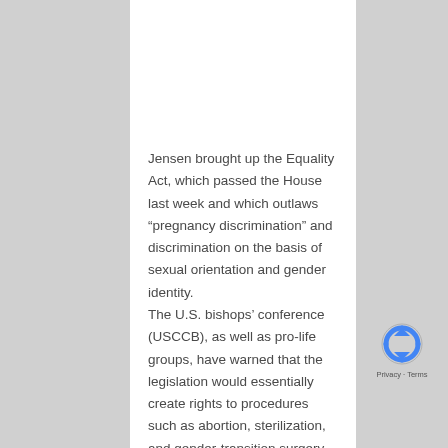Jensen brought up the Equality Act, which passed the House last week and which outlaws “pregnancy discrimination” and discrimination on the basis of sexual orientation and gender identity.
The U.S. bishops’ conference (USCCB), as well as pro-life groups, have warned that the legislation would essentially create rights to procedures such as abortion, sterilization, and gender-transition surgery. The bill could also eviscerate conscience protections of health care workers opposed to participating
[Figure (logo): reCAPTCHA logo with Privacy and Terms text]